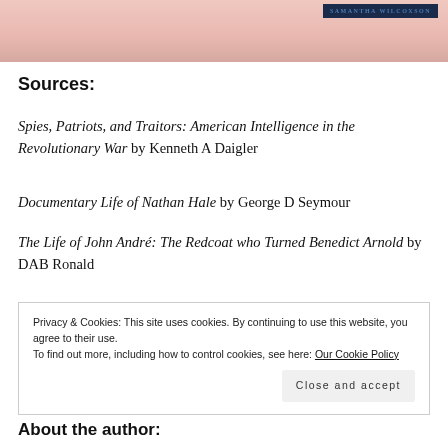[Figure (illustration): Top portion of a book cover with a pink/flesh toned background and a dark navy banner reading 'SAMANTHA WILCOXSON' on the right side.]
Sources:
Spies, Patriots, and Traitors: American Intelligence in the Revolutionary War by Kenneth A Daigler
Documentary Life of Nathan Hale by George D Seymour
The Life of John André: The Redcoat who Turned Benedict Arnold by DAB Ronald
Privacy & Cookies: This site uses cookies. By continuing to use this website, you agree to their use.
To find out more, including how to control cookies, see here: Our Cookie Policy
[Close and accept]
About the author: